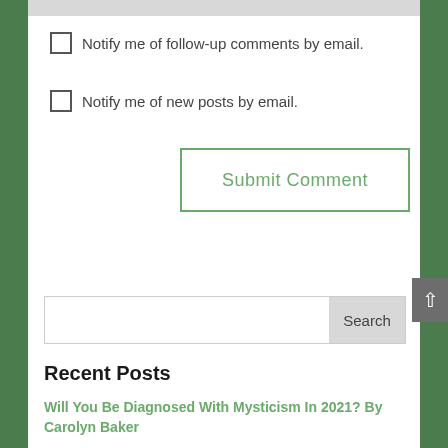Notify me of follow-up comments by email.
Notify me of new posts by email.
Submit Comment
Search
Recent Posts
Will You Be Diagnosed With Mysticism In 2021? By Carolyn Baker